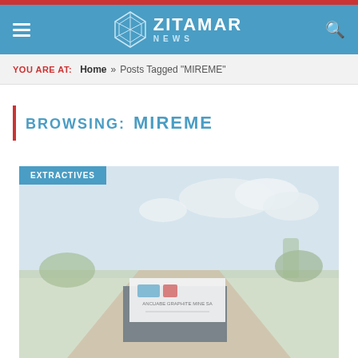ZITAMAR NEWS
YOU ARE AT:  Home » Posts Tagged "MIREME"
BROWSING:  MIREME
[Figure (photo): Outdoor photo showing a company sign reading 'ANCUABE GRAPHITE MINE SA' with logos, set against a green lawn and blue sky. An 'EXTRACTIVES' category badge overlays the top-left corner.]